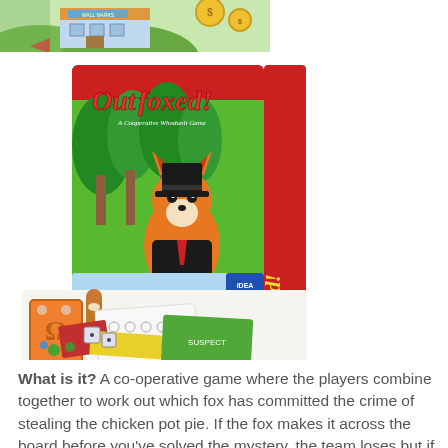[Figure (photo): Top portion of a cropped image showing a colorful illustrated scene with a building and coins, appears to be a board game box or illustration from above.]
[Figure (photo): Photo of the Outfoxed! board game box and components. The box shows a fox in a top hat and suit on a green background with trees, with red trim and the title 'Outfoxed! A Cooperative Whodunit Game'. Game components including cards, a fox figurine, dice, and game pieces are displayed in front of the box.]
What is it? A co-operative game where the players combine together to work out which fox has committed the crime of stealing the chicken pot pie. If the fox makes it across the board before you've solved the mystery, the team loses but if you manage to put together the clues to identify the